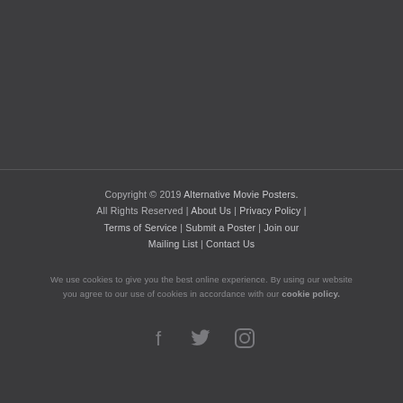[Figure (other): Dark gray empty top section of a webpage]
Copyright © 2019 Alternative Movie Posters. All Rights Reserved | About Us | Privacy Policy | Terms of Service | Submit a Poster | Join our Mailing List | Contact Us
We use cookies to give you the best online experience. By using our website you agree to our use of cookies in accordance with our cookie policy.
[Figure (other): Social media icons: Facebook, Twitter, Instagram]